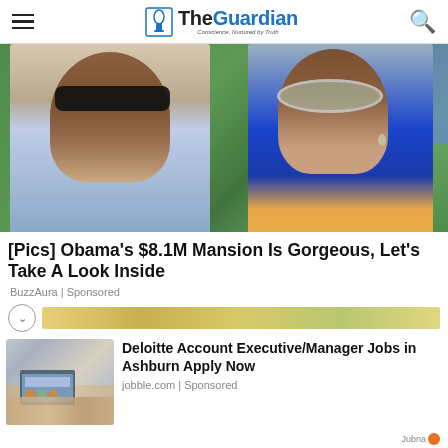The Guardian — Conscience, Nurtured by Truth
[Figure (photo): Two people wearing sunglasses outdoors with green foliage in background — resembling Barack and Michelle Obama]
[Pics] Obama's $8.1M Mansion Is Gorgeous, Let's Take A Look Inside
BuzzAura | Sponsored
[Figure (photo): Strip preview image showing food/flowers]
[Figure (photo): People around a laptop at a business meeting — Deloitte job ad image]
Deloitte Account Executive/Manager Jobs in Ashburn Apply Now
jobble.com | Sponsored